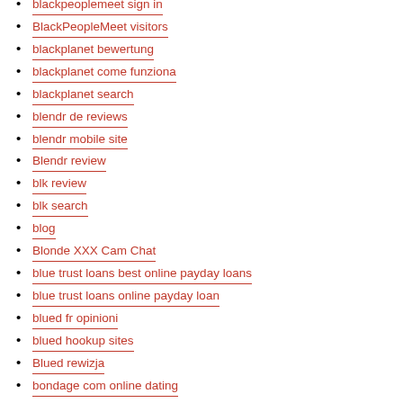blackpeoplemeet sign in
BlackPeopleMeet visitors
blackplanet bewertung
blackplanet come funziona
blackplanet search
blendr de reviews
blendr mobile site
Blendr review
blk review
blk search
blog
Blonde XXX Cam Chat
blue trust loans best online payday loans
blue trust loans online payday loan
blued fr opinioni
blued hookup sites
Blued rewizja
bondage com online dating
bondage funziona in italia
Bondage Real Sex Chat
Bondage Real Sex Webcam
Bondage XXX Cam Chat Room
bondage.com bewertung
bondage.com mobile site
BongaCams Webcam Chat
Bookofmatches applicazione